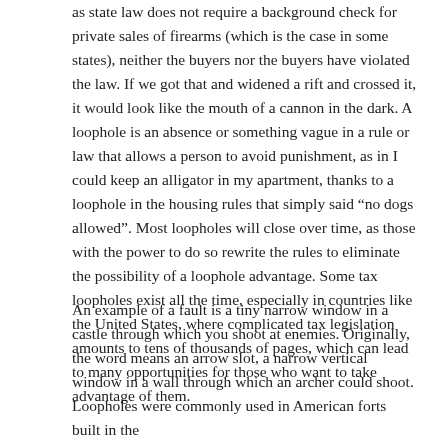as state law does not require a background check for private sales of firearms (which is the case in some states), neither the buyers nor the buyers have violated the law. If we got that and widened a rift and crossed it, it would look like the mouth of a cannon in the dark. A loophole is an absence or something vague in a rule or law that allows a person to avoid punishment, as in I could keep an alligator in my apartment, thanks to a loophole in the housing rules that simply said “no dogs allowed”. Most loopholes will close over time, as those with the power to do so rewrite the rules to eliminate the possibility of a loophole advantage. Some tax loopholes exist all the time, especially in countries like the United States, where complicated tax legislation amounts to tens of thousands of pages, which can lead to many opportunities for those who want to take advantage of them.
An example of a fault is a tiny narrow window in a castle through which you shoot at enemies. Originally, the word means an arrow slot, a narrow vertical window in a wall through which an archer could shoot. Loopholes were commonly used in American forts built in the